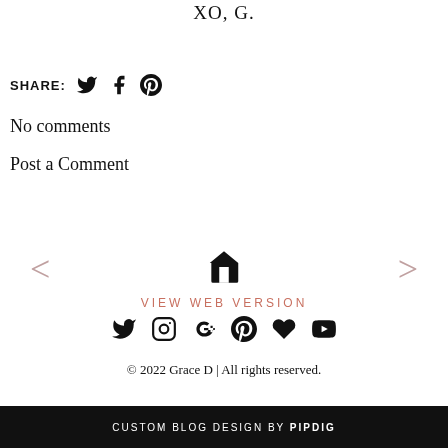XO, G.
SHARE: [twitter] [facebook] [pinterest]
No comments
Post a Comment
[Figure (other): Navigation row with left arrow, home icon, and right arrow]
VIEW WEB VERSION
[Figure (other): Social media icons row: Twitter, Instagram, Google+, Pinterest, heart/Bloglovin, YouTube]
© 2022 Grace D | All rights reserved.
CUSTOM BLOG DESIGN BY pipdig